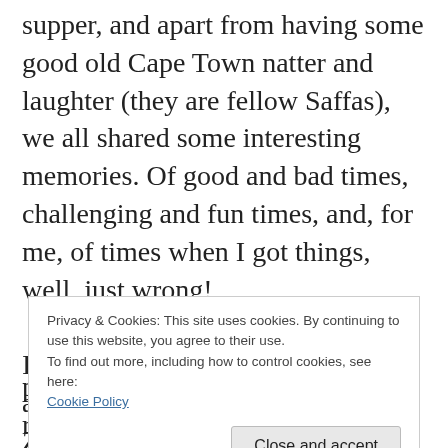supper, and apart from having some good old Cape Town natter and laughter (they are fellow Saffas), we all shared some interesting memories. Of good and bad times, challenging and fun times, and, for me, of times when I got things, well, just wrong!
I told them of a time some years ago when we were living in Zimbabwe. I was working as an
Privacy & Cookies: This site uses cookies. By continuing to use this website, you agree to their use.
To find out more, including how to control cookies, see here: Cookie Policy
parkade exits was closed so all the rush-hour